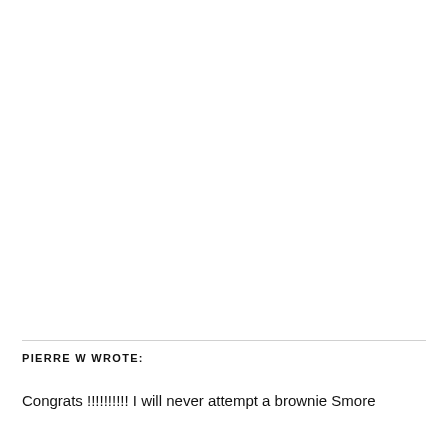PIERRE W WROTE:
Congrats !!!!!!!!!! I will never attempt a brownie Smore again